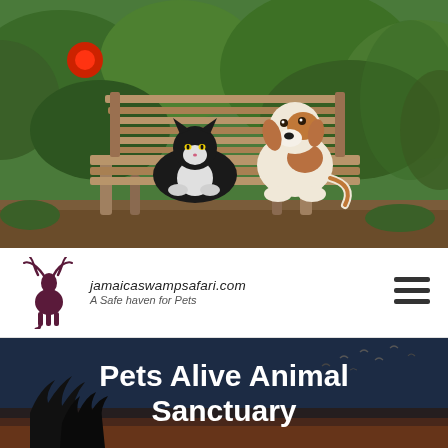[Figure (photo): A black and white cat and a Jack Russell terrier dog sitting together on a weathered wooden garden bench, surrounded by lush green plants and a red flower, in a sunny garden setting.]
[Figure (logo): Deer/stag logo icon in dark maroon/purple color, followed by italicized text 'jamaicaswampsafari.com' and tagline 'A Safe haven for Pets']
[Figure (other): Hamburger menu icon (three horizontal bars) on the right side of the navigation bar]
Pets Alive Animal Sanctuary